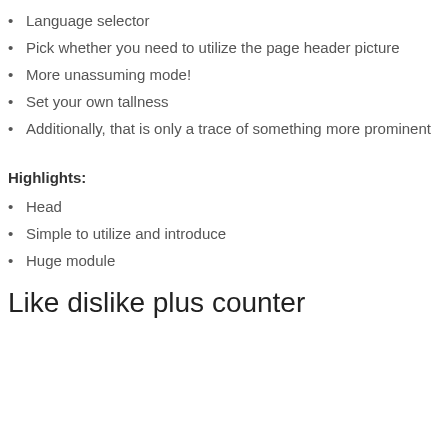Language selector
Pick whether you need to utilize the page header picture
More unassuming mode!
Set your own tallness
Additionally, that is only a trace of something more prominent
Highlights:
Head
Simple to utilize and introduce
Huge module
Like dislike plus counter